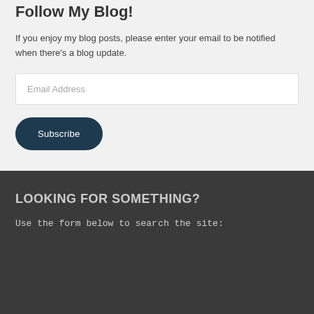Follow My Blog!
If you enjoy my blog posts, please enter your email to be notified when there's a blog update.
Email Address
Subscribe
LOOKING FOR SOMETHING?
Use the form below to search the site: